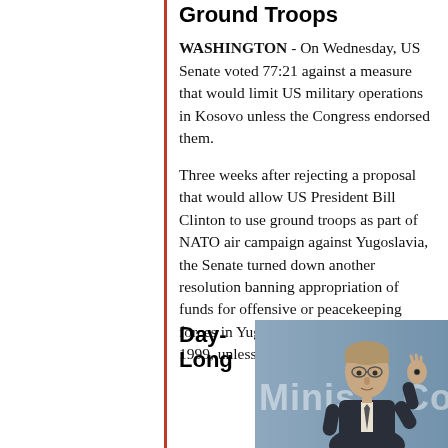Ground Troops
WASHINGTON - On Wednesday, US Senate voted 77:21 against a measure that would limit US military operations in Kosovo unless the Congress endorsed them.
Three weeks after rejecting a proposal that would allow US President Bill Clinton to use ground troops as part of NATO air campaign against Yugoslavia, the Senate turned down another resolution banning appropriation of funds for offensive or peacekeeping forces in Yugoslavia after October 1, 1999, unless US Congress endorsed it.
Day-Long
[Figure (photo): A man in a suit gesturing with his hand at what appears to be a ministerial council or official meeting, with a blue backdrop partially showing the words 'Minis' and 'Cou'.]